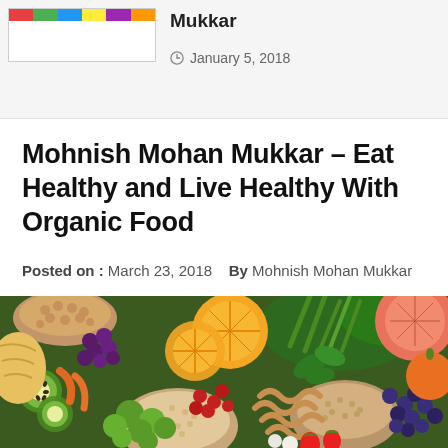Mukkar
January 5, 2018
Mohnish Mohan Mukkar – Eat Healthy and Live Healthy With Organic Food
Posted on : March 23, 2018   By Mohnish Mohan Mukkar
[Figure (photo): Overhead photo of various colorful organic foods including fruits, vegetables, grains, and legumes arranged together — oranges, kiwi, broccoli, berries, pasta, oats, chickpeas, and more.]